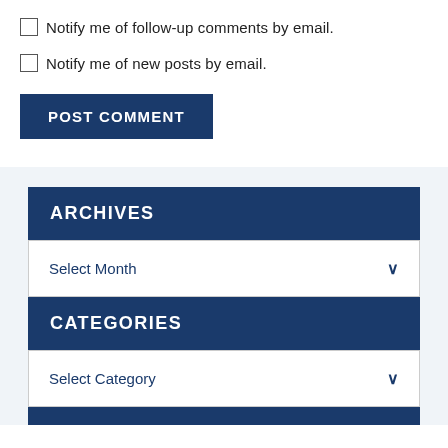Notify me of follow-up comments by email.
Notify me of new posts by email.
POST COMMENT
ARCHIVES
Select Month
CATEGORIES
Select Category